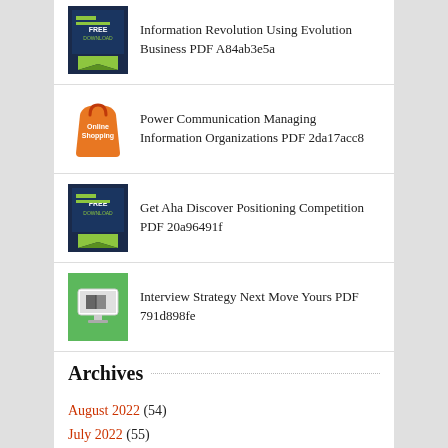Information Revolution Using Evolution Business PDF A84ab3e5a
Power Communication Managing Information Organizations PDF 2da17acc8
Get Aha Discover Positioning Competition PDF 20a96491f
Interview Strategy Next Move Yours PDF 791d898fe
Archives
August 2022 (54)
July 2022 (55)
June 2022 (38)
May 2022 (57)